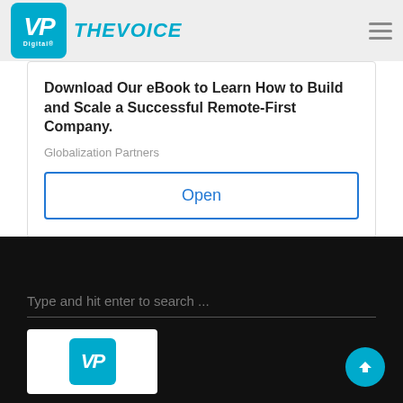VP Digital — THE VOICE
[Figure (screenshot): Advertisement card: Download Our eBook to Learn How to Build and Scale a Successful Remote-First Company. Globalization Partners. Open button.]
Download Our eBook to Learn How to Build and Scale a Successful Remote-First Company.
Globalization Partners
Open
Type and hit enter to search ...
[Figure (logo): VP Digital logo in footer on dark background]